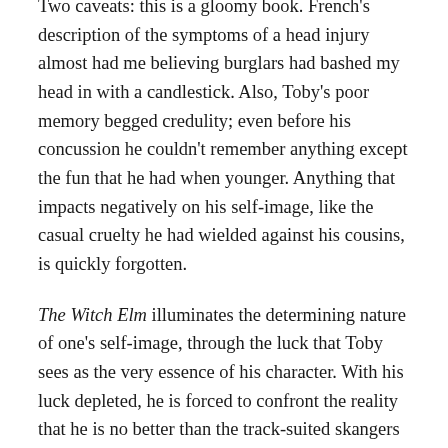Two caveats: this is a gloomy book. French's description of the symptoms of a head injury almost had me believing burglars had bashed my head in with a candlestick. Also, Toby's poor memory begged credulity; even before his concussion he couldn't remember anything except the fun that he had when younger. Anything that impacts negatively on his self-image, like the casual cruelty he had wielded against his cousins, is quickly forgotten.
The Witch Elm illuminates the determining nature of one's self-image, through the luck that Toby sees as the very essence of his character. With his luck depleted, he is forced to confront the reality that he is no better than the track-suited skangers whom he continuously derides.